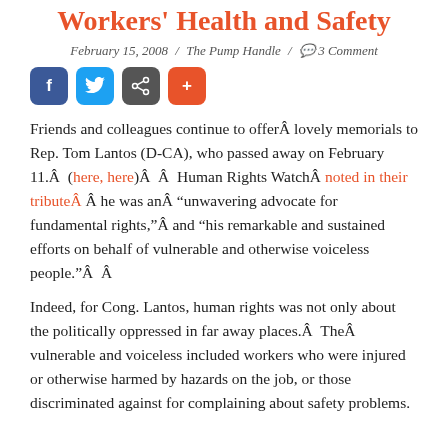Workers' Health and Safety
February 15, 2008 / The Pump Handle / 3 Comment
[Figure (other): Social sharing buttons: Facebook, Twitter, share icon, plus]
Friends and colleagues continue to offerÂ lovely memorials to Rep. Tom Lantos (D-CA), who passed away on February 11.Â  (here, here)Â  Â  Human Rights WatchÂ noted in their tributeÂ  Â he was anÂ “unwavering advocate for fundamental rights,”Â and “his remarkable and sustained efforts on behalf of vulnerable and otherwise voiceless people.”Â  Â
Indeed, for Cong. Lantos, human rights was not only about the politically oppressed in far away places.Â TheÂ vulnerable and voiceless included workers who were injured or otherwise harmed by hazards on the job, or those discriminated against for complaining about safety problems.